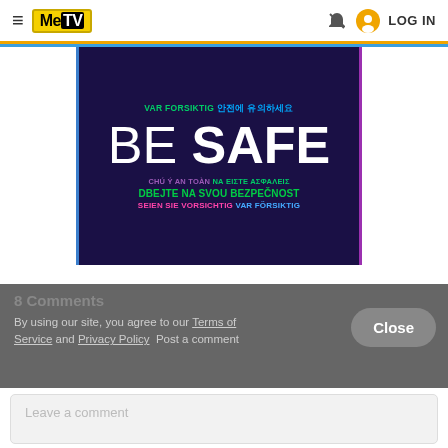≡  MeTV   LOG IN
[Figure (infographic): Be Safe multilingual safety banner on dark navy background with colorful text in multiple languages: VAR FORSIKTIG, 안전에 유의하세요, BE SAFE, CHÚ Ý AN TOÀN, ΝΑ ΕΙΣΤΕ ΑΣΦΑΛΕΙΣ, DBEJTE NA SVOU BEZPEČNOST, SEIEN SIE VORSICHTIG, VAR FÖRSIKTIG]
8 Comments
By using our site, you agree to our Terms of Service and Privacy Policy   Post a comment
Leave a comment